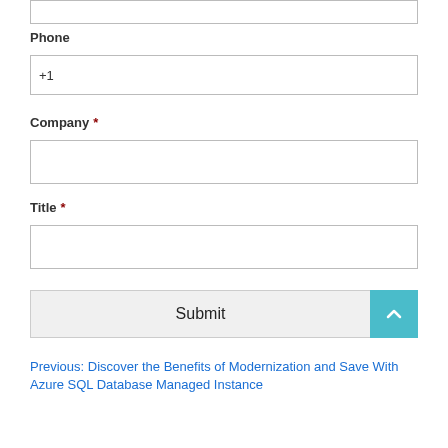(top input field - empty)
Phone
+1
Company *
(empty company input field)
Title *
(empty title input field)
Submit
Previous: Discover the Benefits of Modernization and Save With Azure SQL Database Managed Instance